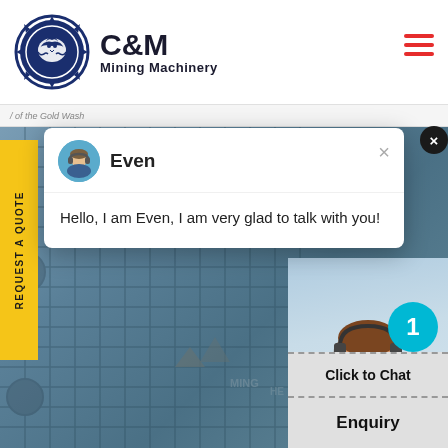[Figure (logo): C&M Mining Machinery logo with eagle-gear emblem]
/ of the Gold Wash
REQUEST A QUOTE
[Figure (screenshot): Chat popup with agent Even saying: Hello, I am Even, I am very glad to talk with you!]
Even
Hello, I am Even, I am very glad to talk with you!
[Figure (photo): Customer support agent with headset, cyan badge showing 1]
Click to Chat
Enquiry